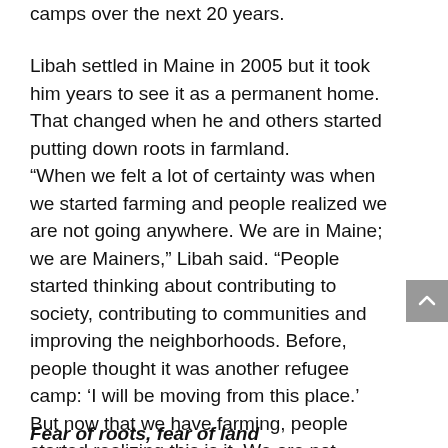camps over the next 20 years.
Libah settled in Maine in 2005 but it took him years to see it as a permanent home. That changed when he and others started putting down roots in farmland.
“When we felt a lot of certainty was when we started farming and people realized we are not going anywhere. We are in Maine; we are Mainers,” Libah said. “People started thinking about contributing to society, contributing to communities and improving the neighborhoods. Before, people thought it was another refugee camp: ‘I will be moving from this place.’ But now that we have farming, people started realizing this is it. We are not moving again.”
Fear of roots, fear of land